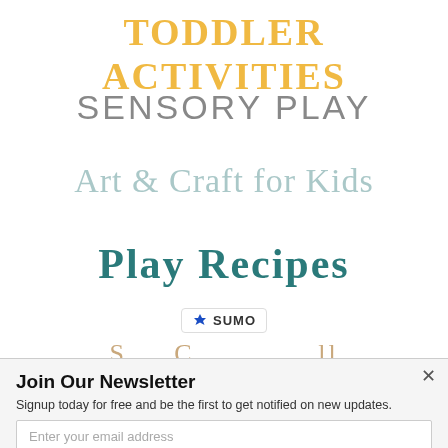Toddler Activities
SENSORY PLAY
Art & Craft for Kids
Play Recipes
[Figure (logo): Sumo badge/logo with crown icon and text SUMO]
Join Our Newsletter
Signup today for free and be the first to get notified on new updates.
Enter your email address
Subscribe Now